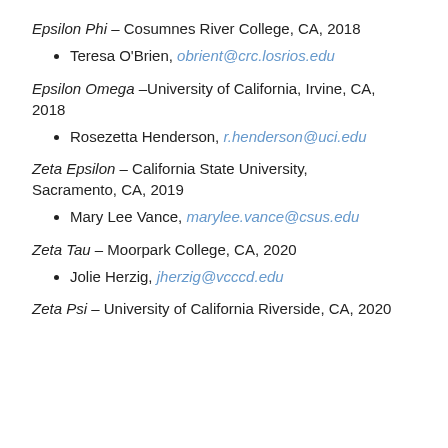Epsilon Phi – Cosumnes River College, CA, 2018
Teresa O'Brien, obrient@crc.losrios.edu
Epsilon Omega –University of California, Irvine, CA, 2018
Rosezetta Henderson, r.henderson@uci.edu
Zeta Epsilon – California State University, Sacramento, CA, 2019
Mary Lee Vance, marylee.vance@csus.edu
Zeta Tau – Moorpark College, CA, 2020
Jolie Herzig, jherzig@vcccd.edu
Zeta Psi – University of California Riverside, CA, 2020